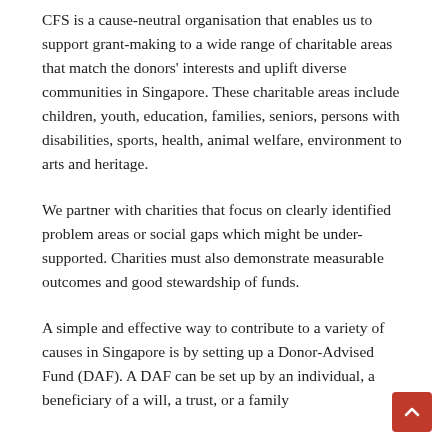CFS is a cause-neutral organisation that enables us to support grant-making to a wide range of charitable areas that match the donors' interests and uplift diverse communities in Singapore. These charitable areas include children, youth, education, families, seniors, persons with disabilities, sports, health, animal welfare, environment to arts and heritage.
We partner with charities that focus on clearly identified problem areas or social gaps which might be under-supported. Charities must also demonstrate measurable outcomes and good stewardship of funds.
A simple and effective way to contribute to a variety of causes in Singapore is by setting up a Donor-Advised Fund (DAF). A DAF can be set up by an individual, a beneficiary of a will, a trust, or a family